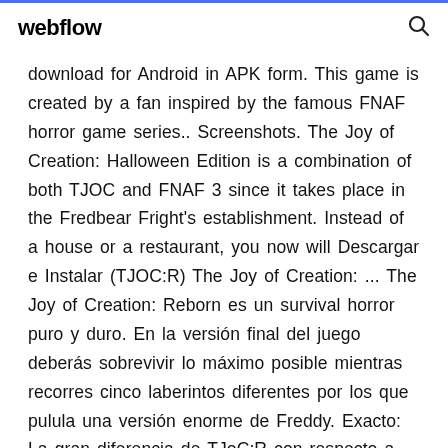webflow
download for Android in APK form. This game is created by a fan inspired by the famous FNAF horror game series.. Screenshots. The Joy of Creation: Halloween Edition is a combination of both TJOC and FNAF 3 since it takes place in the Fredbear Fright's establishment. Instead of a house or a restaurant, you now will Descargar e Instalar (TJOC:R) The Joy of Creation: ... The Joy of Creation: Reborn es un survival horror puro y duro. En la versión final del juego deberás sobrevivir lo máximo posible mientras recorres cinco laberintos diferentes por los que pulula una versión enorme de Freddy. Exacto: La gran diferencia de TJoC:R con respecto a los FNaF oficiales es que en este no controlas la